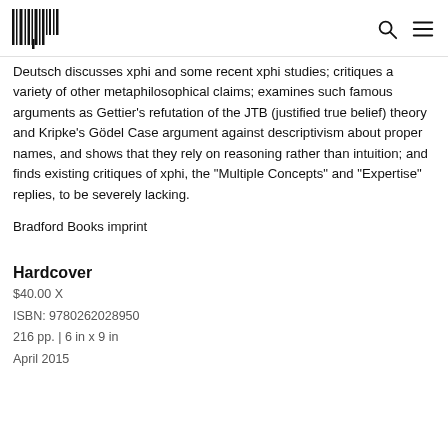[MIT Press logo] [Search icon] [Menu icon]
Deutsch discusses xphi and some recent xphi studies; critiques a variety of other metaphilosophical claims; examines such famous arguments as Gettier's refutation of the JTB (justified true belief) theory and Kripke's Gödel Case argument against descriptivism about proper names, and shows that they rely on reasoning rather than intuition; and finds existing critiques of xphi, the “Multiple Concepts” and “Expertise” replies, to be severely lacking.
Bradford Books imprint
Hardcover
$40.00 X
ISBN: 9780262028950
216 pp. | 6 in x 9 in
April 2015